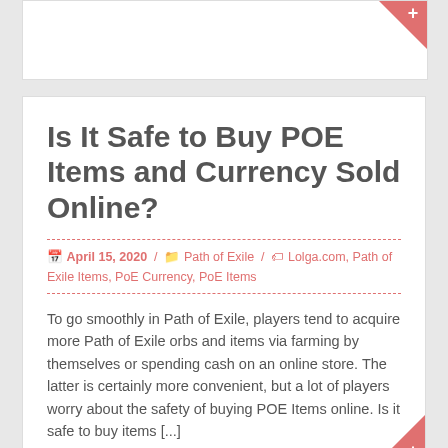Is It Safe to Buy POE Items and Currency Sold Online?
April 15, 2020 / Path of Exile / Lolga.com, Path of Exile Items, PoE Currency, PoE Items
To go smoothly in Path of Exile, players tend to acquire more Path of Exile orbs and items via farming by themselves or spending cash on an online store. The latter is certainly more convenient, but a lot of players worry about the safety of buying POE Items online. Is it safe to buy items [...]